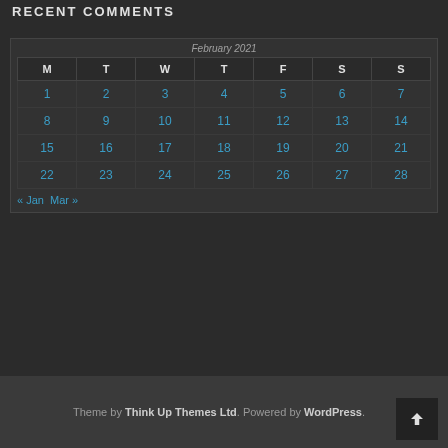RECENT COMMENTS
| M | T | W | T | F | S | S |
| --- | --- | --- | --- | --- | --- | --- |
| 1 | 2 | 3 | 4 | 5 | 6 | 7 |
| 8 | 9 | 10 | 11 | 12 | 13 | 14 |
| 15 | 16 | 17 | 18 | 19 | 20 | 21 |
| 22 | 23 | 24 | 25 | 26 | 27 | 28 |
« Jan  Mar »
Theme by Think Up Themes Ltd. Powered by WordPress.